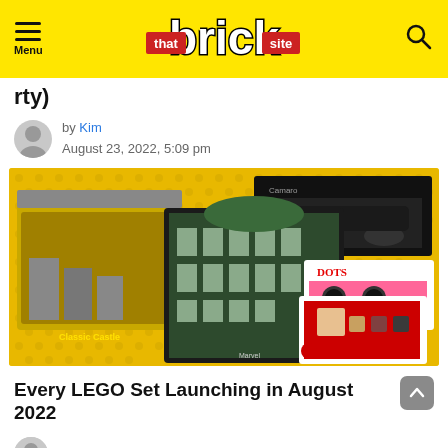Menu | that brick site
rty)
by Kim
August 23, 2022, 5:09 pm
[Figure (photo): Promotional image of multiple LEGO sets on a yellow LEGO brick background including a castle, Marvel set, a black car, DOTS Mickey Mouse set, and a Manchester United BrickHeadz set]
Every LEGO Set Launching in August 2022
by Kim